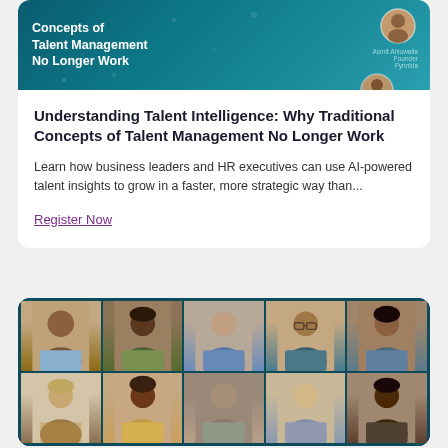[Figure (illustration): Dark teal banner with white bold text reading 'Concepts of Talent Management No Longer Work' with profile avatar images on the right side]
Understanding Talent Intelligence: Why Traditional Concepts of Talent Management No Longer Work
Learn how business leaders and HR executives can use AI-powered talent insights to grow in a faster, more strategic way than...
Register Now
[Figure (photo): Grid of 10 professional headshots showing diverse group of people in a video conference grid layout, with dark teal border]